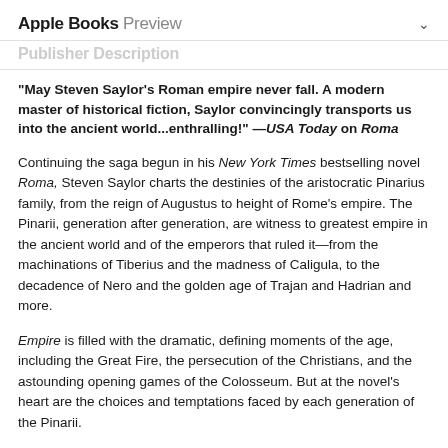Apple Books Preview
Publisher Description
"May Steven Saylor's Roman empire never fall. A modern master of historical fiction, Saylor convincingly transports us into the ancient world...enthralling!" —USA Today on Roma
Continuing the saga begun in his New York Times bestselling novel Roma, Steven Saylor charts the destinies of the aristocratic Pinarius family, from the reign of Augustus to height of Rome's empire. The Pinarii, generation after generation, are witness to greatest empire in the ancient world and of the emperors that ruled it—from the machinations of Tiberius and the madness of Caligula, to the decadence of Nero and the golden age of Trajan and Hadrian and more.
Empire is filled with the dramatic, defining moments of the age, including the Great Fire, the persecution of the Christians, and the astounding opening games of the Colosseum. But at the novel's heart are the choices and temptations faced by each generation of the Pinarii.
Steven Saylor once again brings the ancient world to vivid life in